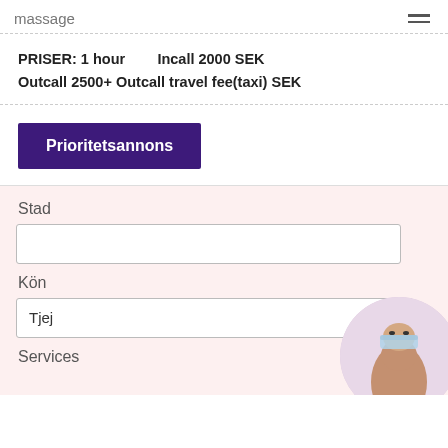massage
PRISER: 1 hour   Incall 2000 SEK
Outcall 2500+ Outcall travel fee(taxi) SEK
Prioritetsannons
Stad
Kön
Tjej
Services